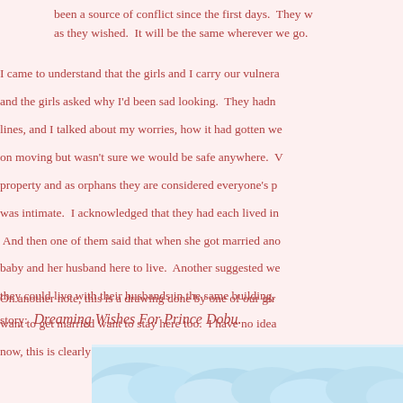been a source of conflict since the first days. They w as they wished. It will be the same wherever we go.
I came to understand that the girls and I carry our vulnera and the girls asked why I'd been sad looking. They hadn lines, and I talked about my worries, how it had gotten we on moving but wasn't sure we would be safe anywhere. property and as orphans they are considered everyone's p was intimate. I acknowledged that they had each lived in And then one of them said that when she got married ano baby and her husband here to live. Another suggested we they could live with their husbands in the same building. want to get married want to stay here too. I have no idea now, this is clearly home, their home… it was a beautifu
On another note, this is a drawing done by one of our gir story: Dreaming Wishes For Prince Dobu.
[Figure (illustration): A drawing showing a light blue sky with clouds, partially visible at the bottom of the page. Appears to be a child's illustration.]